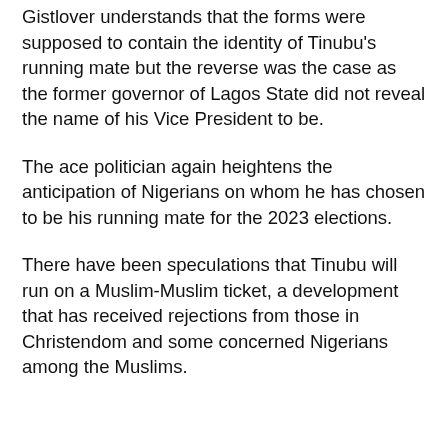Gistlover understands that the forms were supposed to contain the identity of Tinubu's running mate but the reverse was the case as the former governor of Lagos State did not reveal the name of his Vice President to be.
The ace politician again heightens the anticipation of Nigerians on whom he has chosen to be his running mate for the 2023 elections.
There have been speculations that Tinubu will run on a Muslim-Muslim ticket, a development that has received rejections from those in Christendom and some concerned Nigerians among the Muslims.